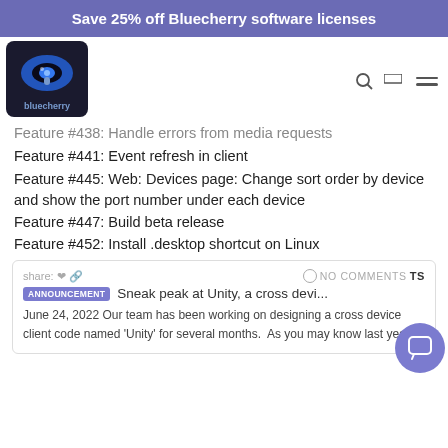Save 25% off Bluecherry software licenses
[Figure (logo): Bluecherry logo — dark background with blue eye and microphone icon, text 'bluecherry' below]
Feature #438: Handle errors from media requests
Feature #441: Event refresh in client
Feature #445: Web: Devices page: Change sort order by device and show the port number under each device
Feature #447: Build beta release
Feature #452: Install .desktop shortcut on Linux
share: NO COMMENTS
ANNOUNCEMENT Sneak peak at Unity, a cross devi...
June 24, 2022 Our team has been working on designing a cross device client code named 'Unity' for several months. As you may know last yea...